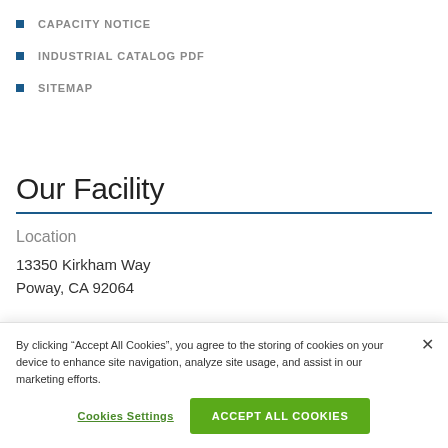CAPACITY NOTICE
INDUSTRIAL CATALOG PDF
SITEMAP
Our Facility
Location
13350 Kirkham Way
Poway, CA 92064
By clicking “Accept All Cookies”, you agree to the storing of cookies on your device to enhance site navigation, analyze site usage, and assist in our marketing efforts.